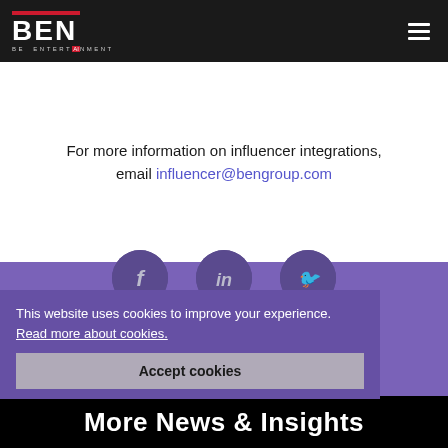BEN BE ENTERTAINMENT
For more information on influencer integrations, email influencer@bengroup.com
[Figure (other): Social media icons for Facebook, LinkedIn, and Twitter displayed as circular buttons on purple background]
This website uses cookies to improve your experience. Read more about cookies.
Accept cookies
More News & Insights